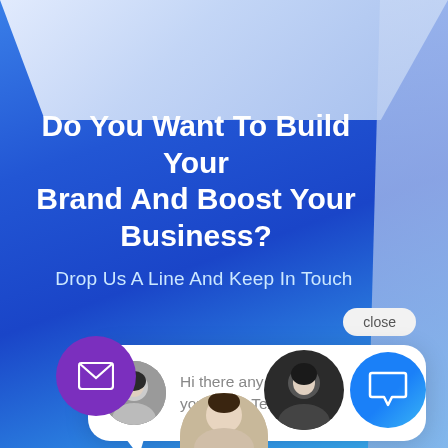[Figure (illustration): Blue gradient background with 3D box effect, lighter top and right faces suggesting a 3D perspective box]
Do You Want To Build Your Brand And Boost Your Business?
Drop Us A Line And Keep In Touch
[Figure (screenshot): A chat widget popup with a close button, an avatar of a person, and the message 'Hi there any questions you have. Text us here.']
[Figure (illustration): Purple circle button with envelope/mail icon at bottom left]
[Figure (illustration): Dark circle with person silhouette and blue circle with chat bubble icon at bottom right]